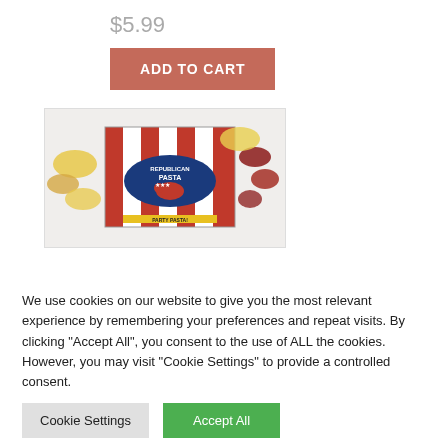$5.99
ADD TO CART
[Figure (photo): A package of Republican Pasta — red and white striped packaging with a GOP elephant logo and stars, with colorful pasta pieces visible around the bag.]
We use cookies on our website to give you the most relevant experience by remembering your preferences and repeat visits. By clicking "Accept All", you consent to the use of ALL the cookies. However, you may visit "Cookie Settings" to provide a controlled consent.
Cookie Settings
Accept All